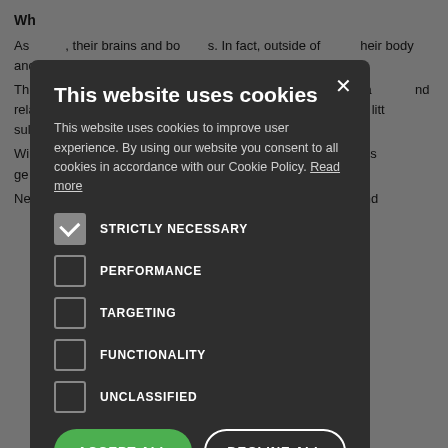What do most teenagers actually do? As... their brains and bo... is. In fact, outside of... heir body and brain wi... Th... t themselves, their m... usually ac... often-messy lea... nd relationships, wh... assage and ma... ble) outcomes. It is litt... sults are often en... g. Wi... ing in the online sp... or at least ind... rning of this ge... ly. Never in human history has there been a forum to post raw and
[Figure (screenshot): Cookie consent modal dialog on a dark overlay. Title: 'This website uses cookies'. Body text explains cookie usage. Five checkboxes: STRICTLY NECESSARY (checked), PERFORMANCE (unchecked), TARGETING (unchecked), FUNCTIONALITY (unchecked), UNCLASSIFIED (unchecked). Two buttons: ACCEPT ALL (green) and DECLINE ALL (outlined). SHOW DETAILS link with gear icon at bottom. Close X button top-right.]